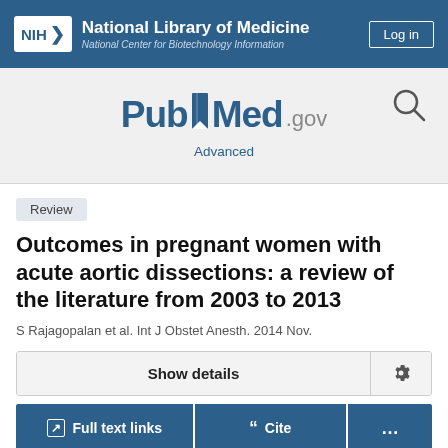NIH National Library of Medicine National Center for Biotechnology Information
[Figure (logo): PubMed.gov logo with bookmark icon and search icon]
Advanced
Review
Outcomes in pregnant women with acute aortic dissections: a review of the literature from 2003 to 2013
S Rajagopalan et al. Int J Obstet Anesth. 2014 Nov.
Show details
Full text links
Cite